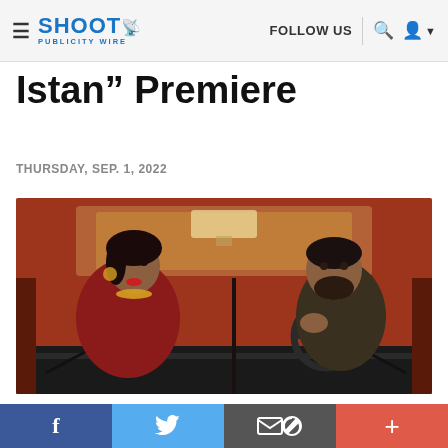SHOOT PUBLICITY WIRE — FOLLOW US
Istan” Premiere
THURSDAY, SEP. 1, 2022
[Figure (photo): Two people sitting in a vintage car interior. A woman in red with jewelry on the left, and a man with a beard gripping the steering wheel on the right. Warm reddish-amber lighting.]
“American-istan,” a film that poignantly examines the immigrant